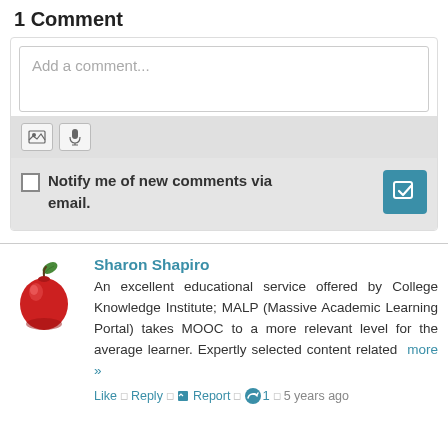1 Comment
[Figure (screenshot): Comment input box with toolbar showing image and microphone icons, and a notify me of new comments via email checkbox with a teal submit button]
Sharon Shapiro
An excellent educational service offered by College Knowledge Institute; MALP (Massive Academic Learning Portal) takes MOOC to a more relevant level for the average learner. Expertly selected content related  more »
Like  □  Reply  □  Report  □  👍 1  □  5 years ago